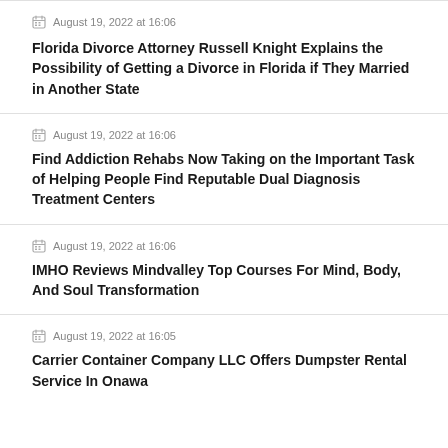August 19, 2022 at 16:06
Florida Divorce Attorney Russell Knight Explains the Possibility of Getting a Divorce in Florida if They Married in Another State
August 19, 2022 at 16:06
Find Addiction Rehabs Now Taking on the Important Task of Helping People Find Reputable Dual Diagnosis Treatment Centers
August 19, 2022 at 16:06
IMHO Reviews Mindvalley Top Courses For Mind, Body, And Soul Transformation
August 19, 2022 at 16:05
Carrier Container Company LLC Offers Dumpster Rental Service In Onawa